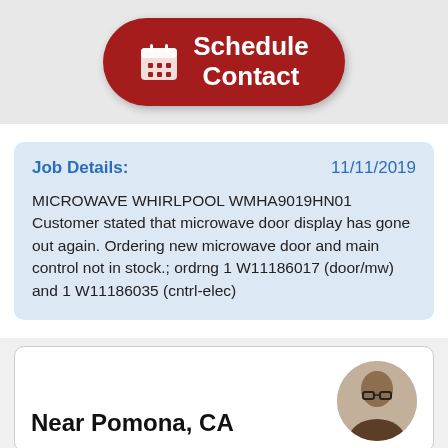[Figure (other): Red rounded button with calendar icon and text 'Schedule Contact']
Job Details:   11/11/2019
MICROWAVE WHIRLPOOL WMHA9019HN01 Customer stated that microwave door display has gone out again. Ordering new microwave door and main control not in stock.; ordrng 1 W11186017 (door/mw) and 1 W11186035 (cntrl-elec)
Near Pomona, CA